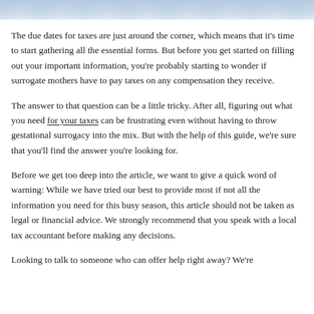[Figure (photo): Partial view of tax forms or financial documents with blue tones, cropped at the top of the page.]
The due dates for taxes are just around the corner, which means that it's time to start gathering all the essential forms. But before you get started on filling out your important information, you're probably starting to wonder if surrogate mothers have to pay taxes on any compensation they receive.
The answer to that question can be a little tricky. After all, figuring out what you need for your taxes can be frustrating even without having to throw gestational surrogacy into the mix. But with the help of this guide, we're sure that you'll find the answer you're looking for.
Before we get too deep into the article, we want to give a quick word of warning: While we have tried our best to provide most if not all the information you need for this busy season, this article should not be taken as legal or financial advice. We strongly recommend that you speak with a local tax accountant before making any decisions.
Looking to talk to someone who can offer help right away? We're